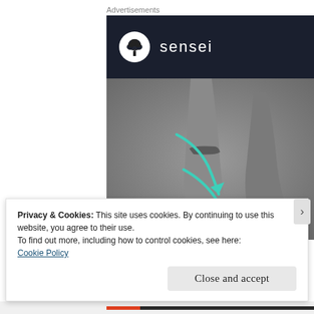Advertisements
[Figure (logo): Sensei brand advertisement: dark navy top bar with white circle logo containing a bonsai tree icon and the word 'sensei' in white lowercase letters. Below is a grey-toned 3D render of ballet pointe shoes on tip-toe with two teal/turquoise curved arrows pointing to the ankle/heel area.]
Privacy & Cookies: This site uses cookies. By continuing to use this website, you agree to their use.
To find out more, including how to control cookies, see here:
Cookie Policy
Close and accept